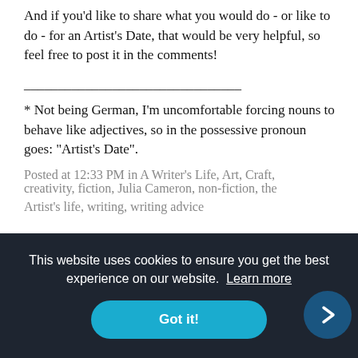And if you'd like to share what you would do - or like to do - for an Artist's Date, that would be very helpful, so feel free to post it in the comments!
________________________________
* Not being German, I'm uncomfortable forcing nouns to behave like adjectives, so in the possessive pronoun goes: "Artist's Date".
Posted at 12:33 PM in A Writer's Life, Art, Craft,
creativity, fiction, Julia Cameron, non-fiction, the Artist's life, writing, writing advice
This website uses cookies to ensure you get the best experience on our website.  Learn more
Got it!